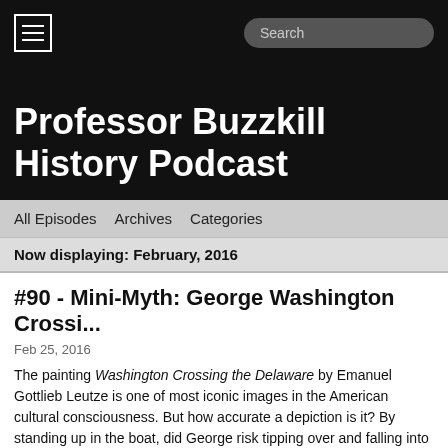Professor Buzzkill History Podcast
All Episodes   Archives   Categories
Now displaying: February, 2016
#90 - Mini-Myth: George Washington Crossi...
Feb 25, 2016
The painting Washington Crossing the Delaware by Emanuel Gottlieb Leutze is one of most iconic images in the American cultural consciousness. But how accurate a depiction is it? By standing up in the boat, did George risk tipping over and falling into the icy river? Would his soldiers have laughed or panicked? Find out, Buzzkillers!